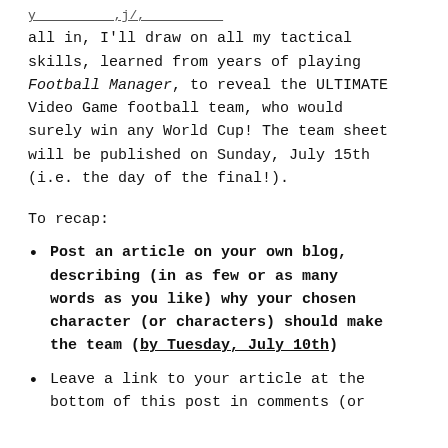all in, I'll draw on all my tactical skills, learned from years of playing Football Manager, to reveal the ULTIMATE Video Game football team, who would surely win any World Cup! The team sheet will be published on Sunday, July 15th (i.e. the day of the final!).
To recap:
Post an article on your own blog, describing (in as few or as many words as you like) why your chosen character (or characters) should make the team (by Tuesday, July 10th)
Leave a link to your article at the bottom of this post in comments (or